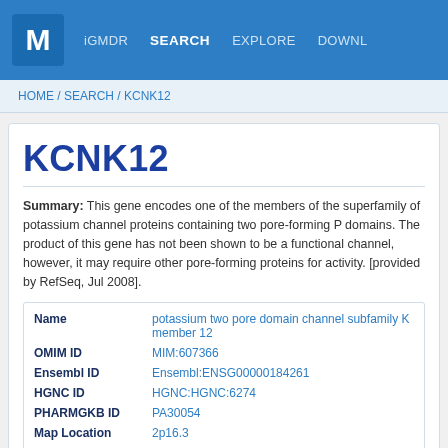M iGMDR SEARCH EXPLORE DOWNL
HOME / SEARCH / KCNK12
KCNK12
Summary: This gene encodes one of the members of the superfamily of potassium channel proteins containing two pore-forming P domains. The product of this gene has not been shown to be a functional channel, however, it may require other pore-forming proteins for activity. [provided by RefSeq, Jul 2008].
| Field | Value |
| --- | --- |
| Name | potassium two pore domain channel subfamily K member 12 |
| OMIM ID | MIM:607366 |
| Ensembl ID | Ensembl:ENSG00000184261 |
| HGNC ID | HGNC:HGNC:6274 |
| PHARMGKB ID | PA30054 |
| Map Location | 2p16.3 |